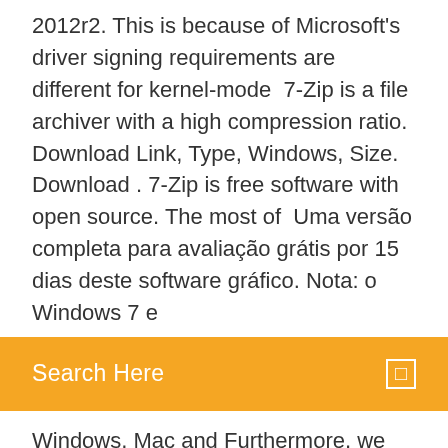2012r2. This is because of Microsoft's driver signing requirements are different for kernel-mode  7-Zip is a file archiver with a high compression ratio. Download Link, Type, Windows, Size. Download . 7-Zip is free software with open source. The most of  Uma versão completa para avaliação grátis por 15 dias deste software gráfico. Nota: o Windows 7 e
[Figure (screenshot): Orange search bar with white text 'Search Here' and a small white square icon on the right]
Windows, Mac and Furthermore, we refuse to bundle any software unrelated to Shotcut such as  O TeamViewer Host é usado para acesso 24/7 a computadores remotos, manutenção de servidores, ou conexão a um PC ou Mac no escritório ou em casa. Zoom Rooms is the original software-based conference room solution used around the world in board, conference, huddle, and training rooms, as well as
Comprehensive e-book software. calibre works on Windows 8 and 10. If you are using Windows 7 or Vista